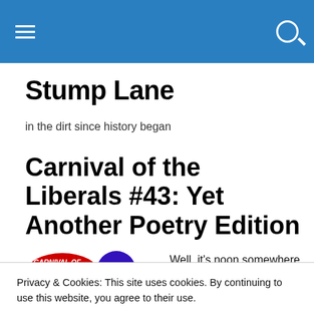Stump Lane — navigation bar with hamburger menu and search icon
Stump Lane
in the dirt since history began
Carnival of the Liberals #43: Yet Another Poetry Edition
[Figure (logo): Carnival of the Liberals logo — red circular badge with text and blue graphic]
Well, it's noon somewhere, right?
Privacy & Cookies: This site uses cookies. By continuing to use this website, you agree to their use.
To find out more, including how to control cookies, see here: Cookie Policy
Close and accept